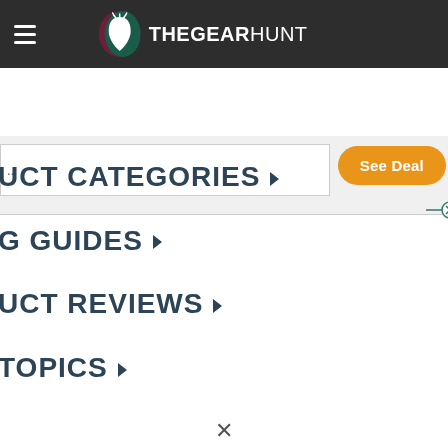THEGEARHUNT
[Figure (screenshot): Deal banner with See Deal button and close button]
UCT CATEGORIES
G GUIDES
UCT REVIEWS
TOPICS